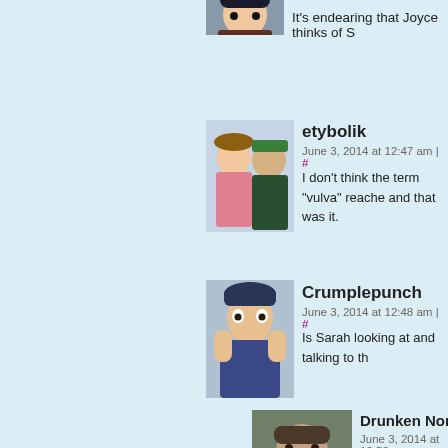[Figure (illustration): Partial anime-style avatar at top, cropped]
It's endearing that Joyce thinks of S
[Figure (illustration): Anime-style avatar showing two characters, etybolik user]
etybolik
June 3, 2014 at 12:47 am | #
I don't think the term “vulva” reache and that was it.
[Figure (illustration): Shocked anime character avatar, Crumplepunch user]
Crumplepunch
June 3, 2014 at 12:48 am | #
Is Sarah looking at and talking to th
[Figure (photo): Photo of bearded man, Drunken Nordmar user]
Drunken Nordmar
June 3, 2014 at 12:52 am
I think she's speaking would involve looking
[Figure (illustration): Anime cat-girl avatar, Kamino Neko user]
Kamino Neko
June 3, 2014 at 2:01